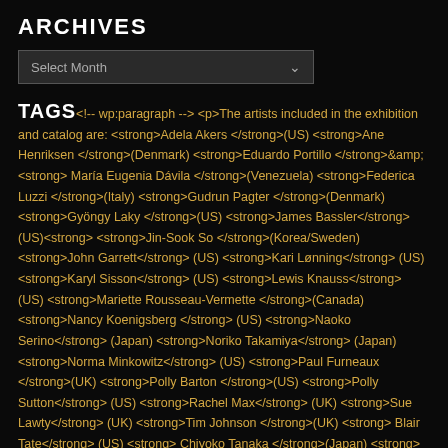ARCHIVES
Select Month
TAGS
<!-- wp:paragraph --> <p>The artists included in the exhibition and catalog are: <strong>Adela Akers </strong>(US) <strong>Ane Henriksen </strong>(Denmark) <strong>Eduardo Portillo </strong>&amp;<strong> María Eugenia Dávila </strong>(Venezuela) <strong>Federica Luzzi </strong>(Italy) <strong>Gudrun Pagter </strong>(Denmark) <strong>Gyöngy Laky </strong>(US) <strong>James Bassler</strong> (US)<strong> <strong>Jin-Sook So </strong>(Korea/Sweden) <strong>John Garrett</strong> (US) <strong>Kari Lønning</strong> (US) <strong>Karyl Sisson</strong> (US) <strong>Lewis Knauss</strong> (US) <strong>Mariette Rousseau-Vermette </strong>(Canada) <strong>Nancy Koenigsberg </strong>(US) <strong>Naoko Serino</strong> (Japan) <strong>Noriko Takamiya</strong> (Japan) <strong>Norma Minkowitz</strong> (US) <strong>Paul Furneaux </strong>(UK) <strong>Polly Barton </strong>(US) <strong>Polly Sutton</strong> (US) <strong>Rachel Max</strong> (UK) <strong>Sue Lawty</strong> (UK) <strong>Tim Johnson </strong>(UK) <strong> Blair Tate</strong> (US) <strong> Chiyoko Tanaka </strong>(Japan) <strong> Heidrun Schimmel </strong>(Germany) <strong> Hisako Sekijima</strong> (Japan) <strong> Irina